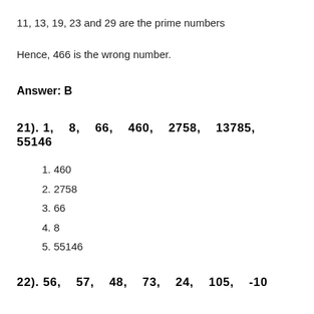11, 13, 19, 23 and 29 are the prime numbers
Hence, 466 is the wrong number.
Answer: B
21). 1,   8,   66,   460,   2758,   13785,   55146
1. 460
2. 2758
3. 66
4. 8
5. 55146
22). 56,   57,   48,   73,   24,   105,   -10